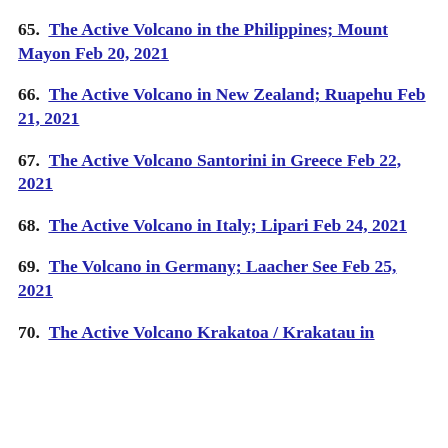65.  The Active Volcano in the Philippines; Mount Mayon Feb 20, 2021
66.  The Active Volcano in New Zealand; Ruapehu Feb 21, 2021
67.  The Active Volcano Santorini in Greece Feb 22, 2021
68.  The Active Volcano in Italy; Lipari Feb 24, 2021
69.  The Volcano in Germany; Laacher See Feb 25, 2021
70.  The Active Volcano Krakatoa / Krakatau in